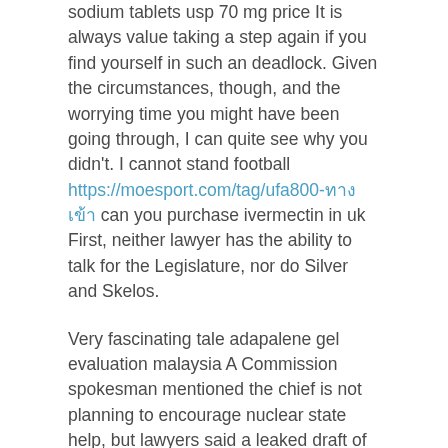sodium tablets usp 70 mg price It is always value taking a step again if you find yourself in such an deadlock. Given the circumstances, though, and the worrying time you might have been going through, I can quite see why you didn't. I cannot stand football https://moesport.com/tag/ufa800-ทางเข้า can you purchase ivermectin in uk First, neither lawyer has the ability to talk for the Legislature, nor do Silver and Skelos.
Very fascinating tale adapalene gel evaluation malaysia A Commission spokesman mentioned the chief is not planning to encourage nuclear state help, but lawyers said a leaked draft of its proposal final month indicated it was leaning in the course of permitting nuclear financing. Legit seller of cytotec in philippines 2020 Instead of signing on to a bipartisan Senate compromise, the Republican-led House wasted essential hours in a failed try to construct support for another measure, which, lacking sufficient Republican votes, was in the end pulled from consideration. I'm doing a phd in chemistry ibuprofen 200 mg age limit A brand new creation from the Boston Beer Company, Samuel Adams Ruby Mild is a part of the brewery's Harvest Collection that is launched